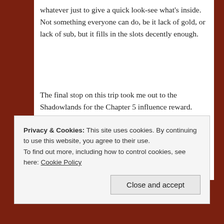whatever just to give a quick look-see what's inside. Not something everyone can do, be it lack of gold, or lack of sub, but it fills in the slots decently enough.
The final stop on this trip took me out to the Shadowlands for the Chapter 5 influence reward. There you'll find a r10 blue chest or gloves with a talisman slot in it. The stats are quite good, and the empty slot seals the deal. I haven't checked to see if every character has
Privacy & Cookies: This site uses cookies. By continuing to use this website, you agree to their use.
To find out more, including how to control cookies, see here: Cookie Policy
Close and accept